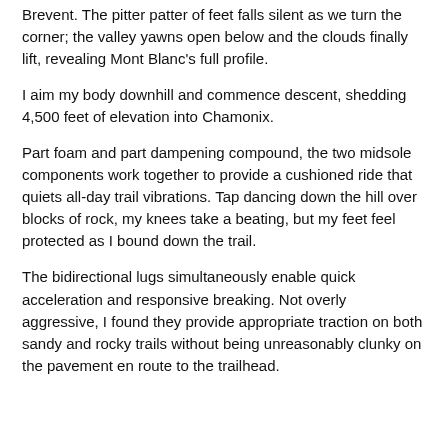Brevent. The pitter patter of feet falls silent as we turn the corner; the valley yawns open below and the clouds finally lift, revealing Mont Blanc's full profile.
I aim my body downhill and commence descent, shedding 4,500 feet of elevation into Chamonix.
Part foam and part dampening compound, the two midsole components work together to provide a cushioned ride that quiets all-day trail vibrations. Tap dancing down the hill over blocks of rock, my knees take a beating, but my feet feel protected as I bound down the trail.
The bidirectional lugs simultaneously enable quick acceleration and responsive breaking. Not overly aggressive, I found they provide appropriate traction on both sandy and rocky trails without being unreasonably clunky on the pavement en route to the trailhead.